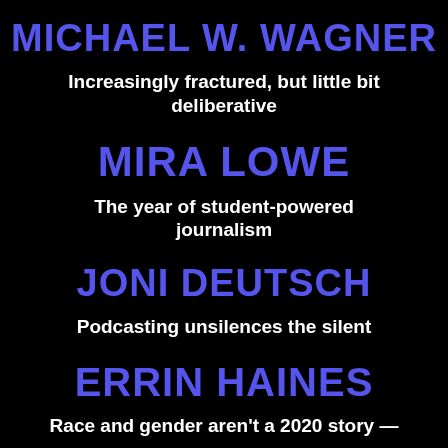MICHAEL W. WAGNER
Increasingly fractured, but little bit deliberative
MIRA LOWE
The year of student-powered journalism
JONI DEUTSCH
Podcasting unsilences the silent
ERRIN HAINES
Race and gender aren't a 2020 story —